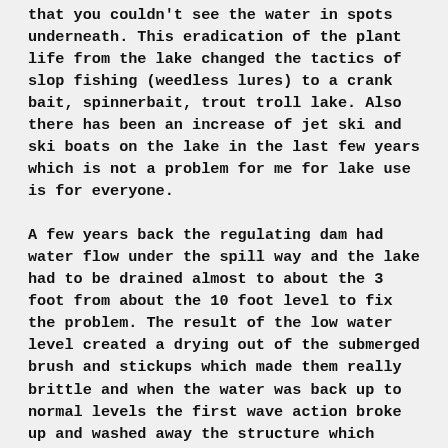that you couldn't see the water in spots underneath. This eradication of the plant life from the lake changed the tactics of slop fishing (weedless lures) to a crank bait, spinnerbait, trout troll lake. Also there has been an increase of jet ski and ski boats on the lake in the last few years which is not a problem for me for lake use is for everyone.
A few years back the regulating dam had water flow under the spill way and the lake had to be drained almost to about the 3 foot from about the 10 foot level to fix the problem. The result of the low water level created a drying out of the submerged brush and stickups which made them really brittle and when the water was back up to normal levels the first wave action broke up and washed away the structure which helped changed the fish tactics. One good advantage of the low water condition for the home owners around the lake was for them to repair the docks and cement walls which were in need of repair. One other good thing that created more fish structure was with the low water condition the owners had a chance to create rip rap coming out from shore by picking up the rocks and boulders which were stacked by hand into walls which were accessible to